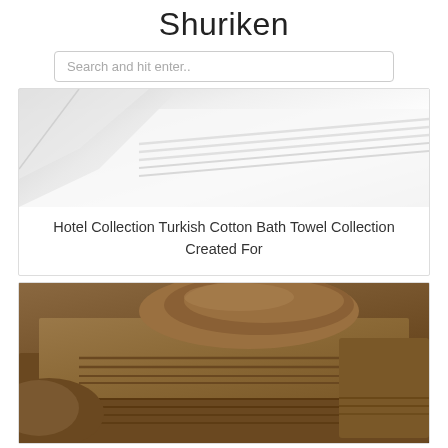Shuriken
Search and hit enter..
[Figure (photo): Close-up photo of white folded Turkish cotton bath towels with ribbed border detail]
Hotel Collection Turkish Cotton Bath Towel Collection Created For
[Figure (photo): Close-up photo of brown/mocha stacked Turkish cotton bath towels with ribbed border detail]